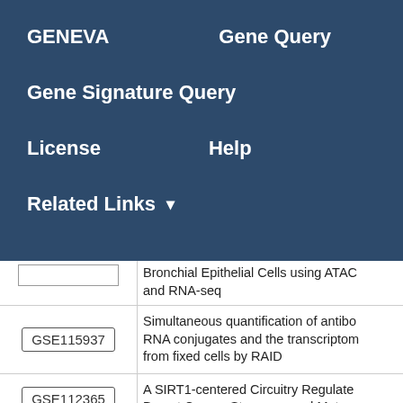GENEVA    Gene Query
Gene Signature Query
License    Help
Related Links ▾
| GSE ID | Description |
| --- | --- |
|  | Bronchial Epithelial Cells using ATAC and RNA-seq |
| GSE115937 | Simultaneous quantification of antibo RNA conjugates and the transcriptom from fixed cells by RAID |
| GSE112365 | A SIRT1-centered Circuitry Regulate Breast Cancer Stemness and Metas |